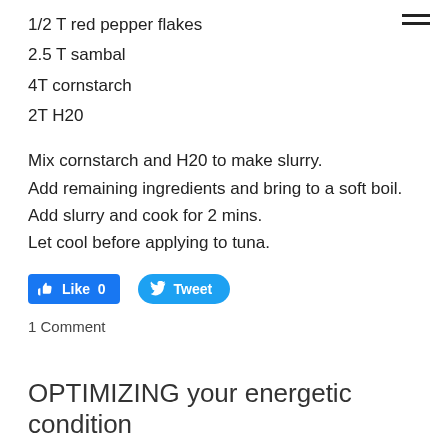1/2 T red pepper flakes
2.5 T sambal
4T cornstarch
2T H20
Mix cornstarch and H20 to make slurry.
Add remaining ingredients and bring to a soft boil.
Add slurry and cook for 2 mins.
Let cool before applying to tuna.
1 Comment
OPTIMIZING your energetic condition